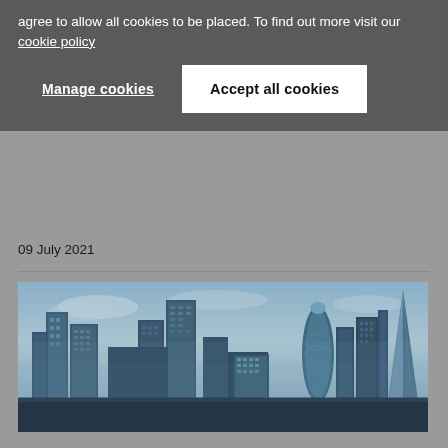agree to allow all cookies to be placed. To find out more visit our cookie policy
Manage cookies
Accept all cookies
09 July 2021
[Figure (photo): City of London skyline photograph showing multiple skyscrapers including the Gherkin and the Shard, photographed with a blue-teal toned filter against an overcast sky]